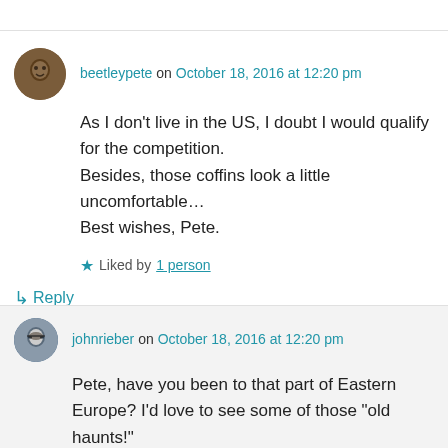beetleypete on October 18, 2016 at 12:20 pm
As I don't live in the US, I doubt I would qualify for the competition. Besides, those coffins look a little uncomfortable… Best wishes, Pete.
Liked by 1 person
Reply
johnrieber on October 18, 2016 at 12:20 pm
Pete, have you been to that part of Eastern Europe? I'd love to see some of those "old haunts!"